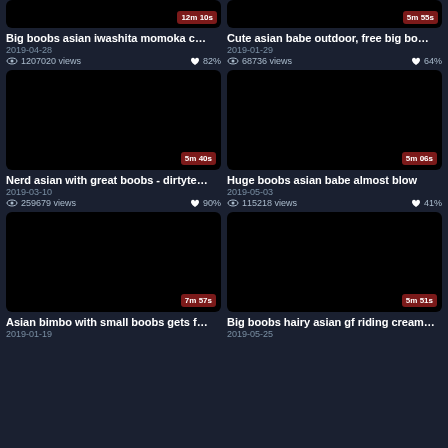[Figure (screenshot): Video thumbnail - black rectangle with duration badge top row left, truncated at top]
[Figure (screenshot): Video thumbnail - black rectangle with duration badge top row right, truncated at top]
Big boobs asian iwashita momoka c…
2019-04-28
1207020 views   82%
Cute asian babe outdoor, free big bo…
2019-01-29
68736 views   64%
[Figure (screenshot): Video thumbnail - black rectangle with duration 5m 40s]
[Figure (screenshot): Video thumbnail - black rectangle with duration 5m 06s]
Nerd asian with great boobs - dirtyte…
2019-03-10
259679 views   90%
Huge boobs asian babe almost blow
2019-05-03
115218 views   41%
[Figure (screenshot): Video thumbnail - black rectangle with duration 7m 57s]
[Figure (screenshot): Video thumbnail - black rectangle with duration 5m 51s]
Asian bimbo with small boobs gets f…
Big boobs hairy asian gf riding cream…